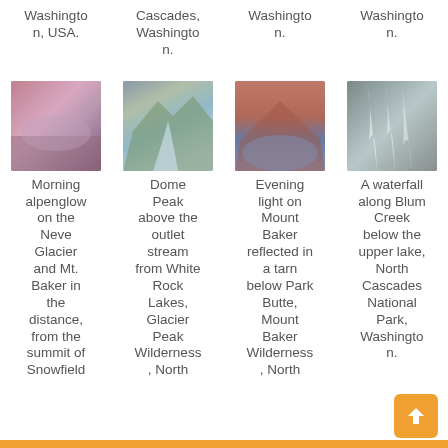Washington, USA.
Cascades, Washington.
Washington.
Washington.
[Figure (photo): Morning alpenglow on the Neve Glacier and Mt. Baker in the distance, from the summit of Snowfield — pink/purple mountain landscape at dawn]
[Figure (photo): Dome Peak above the outlet stream from White Rock Lakes, Glacier Peak Wilderness, North Cascades — rocky peaks with stream and greenery]
[Figure (photo): Evening light on Mount Baker reflected in a tarn below Park Butte, Mount Baker Wilderness, North — pink mountain reflected in water]
[Figure (photo): A waterfall along Blum Creek below the upper lake, North Cascades National Park, Washington — silky waterfall over rocks]
Morning alpenglow on the Neve Glacier and Mt. Baker in the distance, from the summit of Snowfield
Dome Peak above the outlet stream from White Rock Lakes, Glacier Peak Wilderness, North
Evening light on Mount Baker reflected in a tarn below Park Butte, Mount Baker Wilderness, North
A waterfall along Blum Creek below the upper lake, North Cascades National Park, Washington.